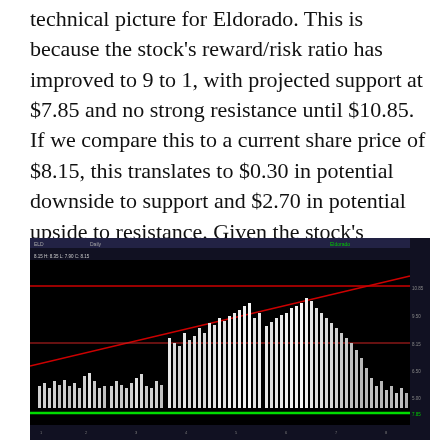technical picture for Eldorado. This is because the stock's reward/risk ratio has improved to 9 to 1, with projected support at $7.85 and no strong resistance until $10.85. If we compare this to a current share price of $8.15, this translates to $0.30 in potential downside to support and $2.70 in potential upside to resistance. Given the stock's undervaluation and attractive technical setup, this looks to be a low-risk buy point.
[Figure (screenshot): Stock chart screenshot with black background showing white bar chart (price bars) and red horizontal/diagonal trendlines with a green horizontal line near the bottom, depicting Eldorado's stock technical chart.]